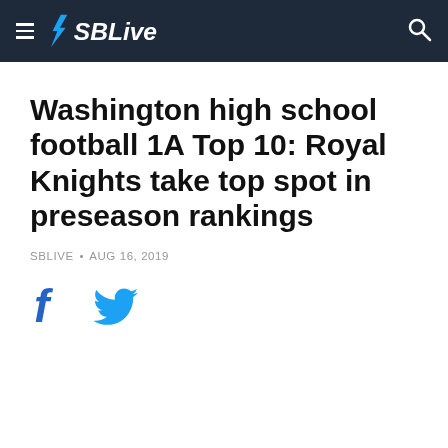SBLive
Washington high school football 1A Top 10: Royal Knights take top spot in preseason rankings
SBLIVE • AUG 16, 2019
[Figure (other): Social share icons: Facebook (f) and Twitter (bird) in blue]